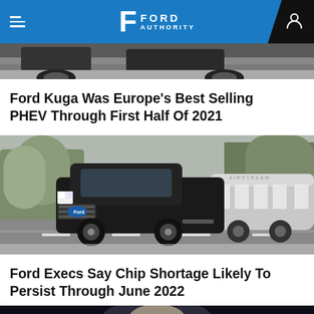Ford Authority
[Figure (photo): Top portion of a car (partially visible) - cropped vehicle shot at the top of the page]
Ford Kuga Was Europe's Best Selling PHEV Through First Half Of 2021
[Figure (photo): Black Ford F-150 pickup truck towing an Airstream trailer on a snowy road with trees in the background]
Ford Execs Say Chip Shortage Likely To Persist Through June 2022
[Figure (photo): Partial view of a person's face against a dark background - bottom of page, partially cropped]